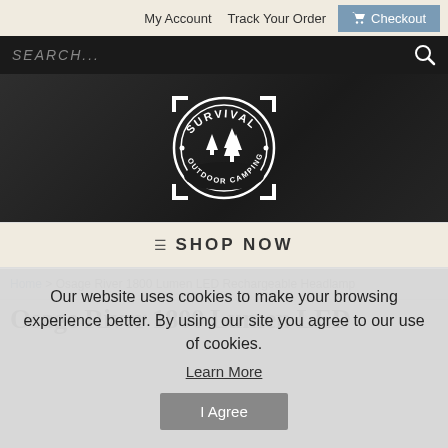My Account   Track Your Order   Checkout
[Figure (screenshot): Search bar with dark background, placeholder text SEARCH... and magnifying glass icon]
[Figure (logo): Survival Outdoor Camping circular logo with pine trees, white on dark background]
SHOP NOW
Home > Osage River 1800 Lumen LED Rechargeable Headlamp
Osage River 1800 Lumen LED
Our website uses cookies to make your browsing experience better. By using our site you agree to our use of cookies. Learn More
I Agree